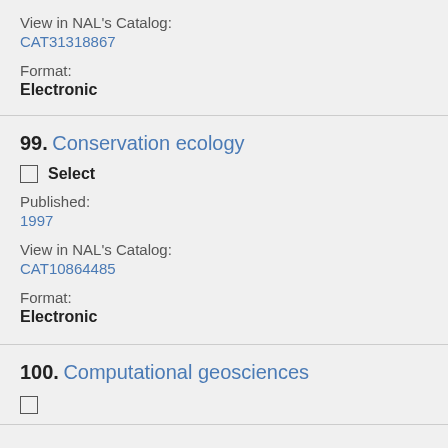View in NAL's Catalog:
CAT31318867
Format:
Electronic
99. Conservation ecology
Select
Published:
1997
View in NAL's Catalog:
CAT10864485
Format:
Electronic
100. Computational geosciences